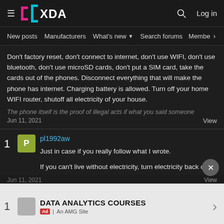XDA — New posts | Manufacturers | What's new | Search forums | Membe
Don't factory reset, don't connect to internet, don't use WIFI, don't use bluetooth, don't use microSD cards, don't put a SIM card, take the cards out of the phones. Disconnect everything that will make the phone has internet. Charging battery is allowed. Turn off your home WIFI router, shutoff all electricity of your house.
The phone itself is the proof of illegal acts if what you said someone
Jun 11, 2021   View
pl1992aw
Just in case if you really follow what I wrote.

If you can't live without electricity, turn electricity back on.
Jun 11, 2021   View
DATA ANALYTICS COURSES
Ad | An AMG Site
BestyDont said